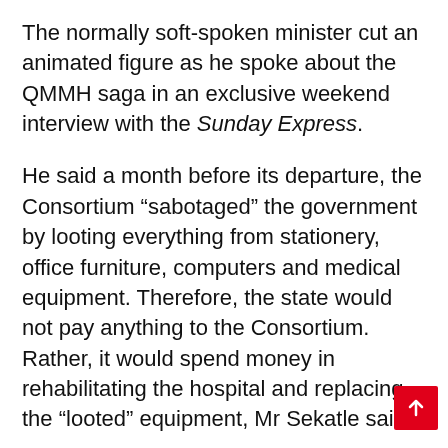The normally soft-spoken minister cut an animated figure as he spoke about the QMMH saga in an exclusive weekend interview with the Sunday Express.
He said a month before its departure, the Consortium “sabotaged” the government by looting everything from stationery, office furniture, computers and medical equipment. Therefore, the state would not pay anything to the Consortium. Rather, it would spend money in rehabilitating the hospital and replacing the “looted” equipment, Mr Sekatle said.
“We don’t owe Tšepong anything in termination fees or anything else,” the minister said.